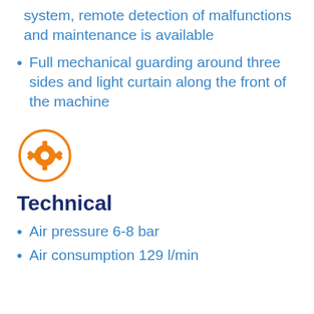system, remote detection of malfunctions and maintenance is available
Full mechanical guarding around three sides and light curtain along the front of the machine
[Figure (illustration): Orange gear/cog icon inside an orange circle outline]
Technical
Air pressure 6-8 bar
Air consumption 129 l/min